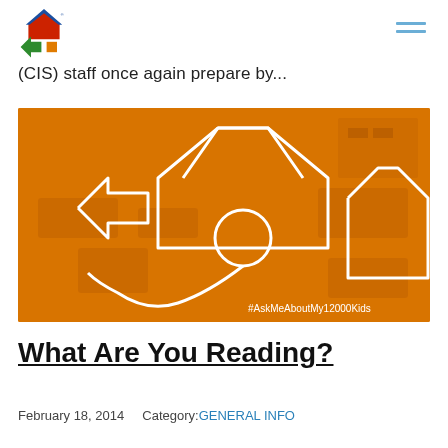CIS logo and navigation menu
(CIS) staff once again prepare by...
[Figure (photo): Orange-tinted classroom photo with white outline illustration of the CIS logo figure (person with house and arrows). Text overlay reads #AskMeAboutMy12000Kids]
What Are You Reading?
February 18, 2014    Category: GENERAL INFO